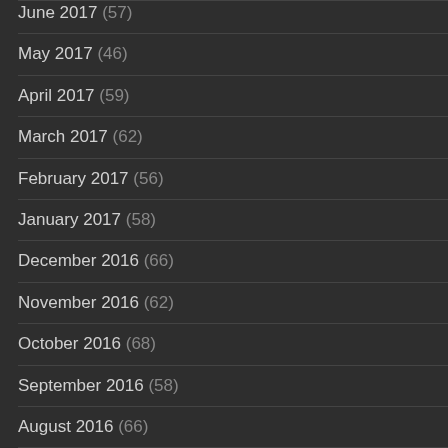June 2017 (57)
May 2017 (46)
April 2017 (59)
March 2017 (62)
February 2017 (56)
January 2017 (58)
December 2016 (66)
November 2016 (62)
October 2016 (68)
September 2016 (58)
August 2016 (66)
July 2016 (58)
June 2016 (57)